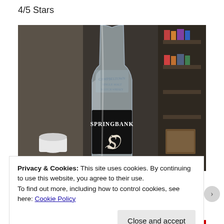4/5 Stars
[Figure (photo): A clear glass bottle with a black label reading 'SPRINGBANK' with a stylized S logo, set against a blurred background of bookshelves and kitchen items.]
Privacy & Cookies: This site uses cookies. By continuing to use this website, you agree to their use.
To find out more, including how to control cookies, see here: Cookie Policy
Close and accept